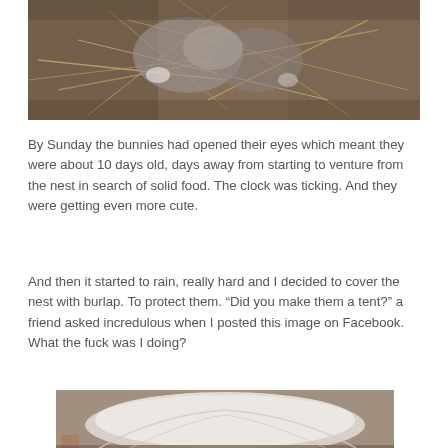[Figure (photo): Close-up photo of baby bunnies nestled in dried grass and straw on the ground, showing their fur and small paws.]
By Sunday the bunnies had opened their eyes which meant they were about 10 days old, days away from starting to venture from the nest in search of solid food. The clock was ticking. And they were getting even more cute.
And then it started to rain, really hard and I decided to cover the nest with burlap. To protect them. “Did you make them a tent?” a friend asked incredulous when I posted this image on Facebook. What the fuck was I doing?
[Figure (photo): Partial photo at bottom of page showing a white burlap or cloth tent-like covering placed over the rabbit nest on the ground.]